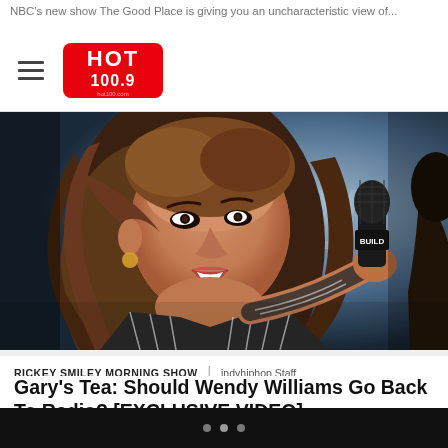NBC's new show The Good Place is giving you an uncharacteristic view of...
HOT 100.9
[Figure (photo): Woman with long wavy highlighted hair holding a microphone on stage, wearing a striped blazer, in front of a blurred background with partial text.]
RICKEY SMILEY MORNING SHOW | indyhiphop Staff
Gary's Tea: Should Wendy Williams Go Back To Radio? [EXCLUSIVE VIDEO]
Before she was making headlines on daytime television, Wendy Williams spent years growing a loyal fan base doing radio out of
• • •